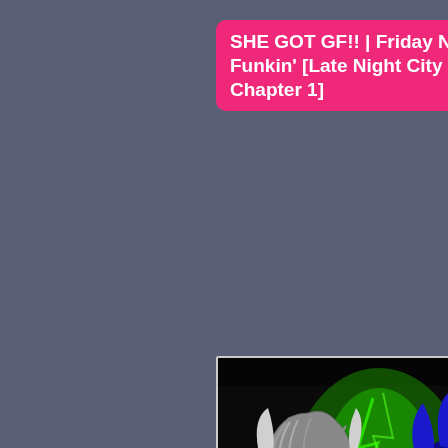SHE GOT GF!! | Friday Night Funkin' [Late Night City Tales Chapter 1]
[Figure (illustration): Anime-style illustration from Friday Night Funkin fan mod 'Late Night City Tales Chapter 1', showing two creepy cartoon characters: on the left a white/grey character with a large red eye, grey hair, and a bloody smile; on the right a dark blue Sonic-like character with a wide yellow-toothed grin and dark hollow eyes. Green energy swirls in the background. The right character holds a red checkered microphone.]